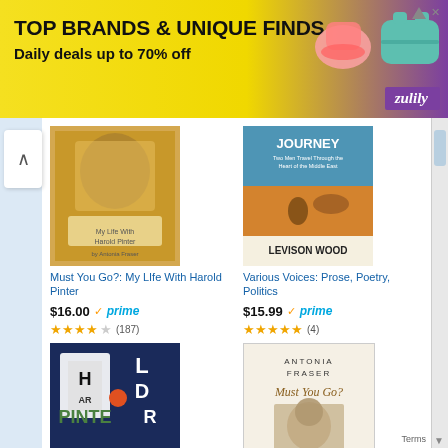[Figure (screenshot): Zulily advertisement banner: TOP BRANDS & UNIQUE FINDS, Daily deals up to 70% off]
TOP BRANDS & UNIQUE FINDS
Daily deals up to 70% off
[Figure (photo): Book cover: Must You Go?: My Life With Harold Pinter]
Must You Go?: My Life With Harold Pinter
$16.00 ✓prime (187) ★★★★☆
[Figure (photo): Book cover: Various Voices: Prose, Poetry, Politics by Levison Wood (Journey)]
Various Voices: Prose, Poetry, Politics
$15.99 ✓prime (4) ★★★★★
[Figure (photo): Book cover: Harold Pinter Complete Works, Vol. 1]
Complete Works, Vol. 1
$15.39 $17.00 ✓prime
[Figure (photo): Book cover: Must You Go? by Antonia Fraser, My Life with Harold Pinter]
Must You Go?: My Life with Harold Pinter
$17.97 $28.95 ✓prime
Terms